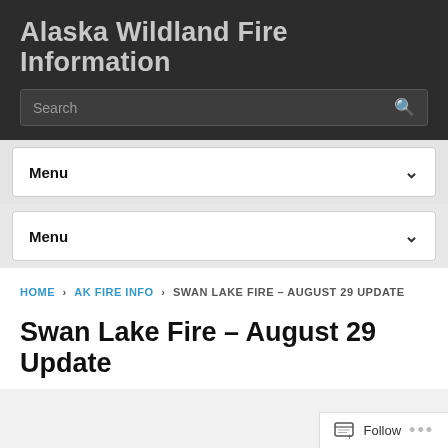Alaska Wildland Fire Information
Search
Menu
Menu
HOME › AK FIRE INFO › SWAN LAKE FIRE – AUGUST 29 UPDATE
Swan Lake Fire – August 29 Update